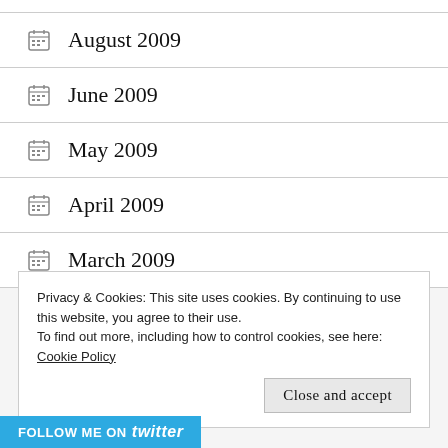August 2009
June 2009
May 2009
April 2009
March 2009
Privacy & Cookies: This site uses cookies. By continuing to use this website, you agree to their use.
To find out more, including how to control cookies, see here:
Cookie Policy
Close and accept
FOLLOW ME ON twitter